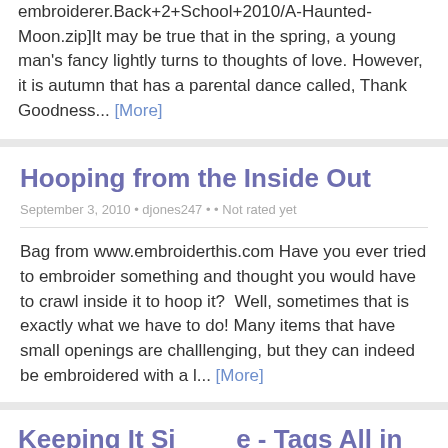embroiderer.Back+2+School+2010/A-Haunted-Moon.zip]It may be true that in the spring, a young man's fancy lightly turns to thoughts of love. However, it is autumn that has a parental dance called, Thank Goodness... [More]
Hooping from the Inside Out
September 3, 2010 • djones247 • • Not rated yet
Bag from www.embroiderthis.com Have you ever tried to embroider something and thought you would have to crawl inside it to hoop it?  Well, sometimes that is exactly what we have to do! Many items that have small openings are challlenging, but they can indeed be embroidered with a l... [More]
Keeping It Simple - Tags All in